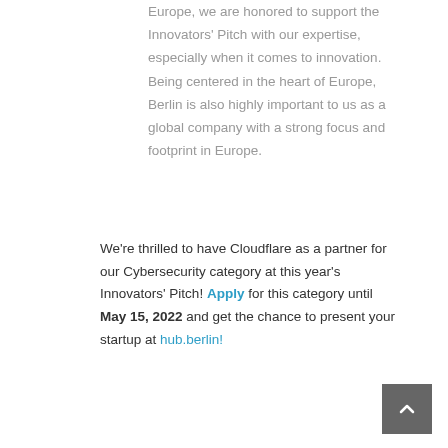Europe, we are honored to support the Innovators' Pitch with our expertise, especially when it comes to innovation. Being centered in the heart of Europe, Berlin is also highly important to us as a global company with a strong focus and footprint in Europe.
We're thrilled to have Cloudflare as a partner for our Cybersecurity category at this year's Innovators' Pitch! Apply for this category until May 15, 2022 and get the chance to present your startup at hub.berlin!